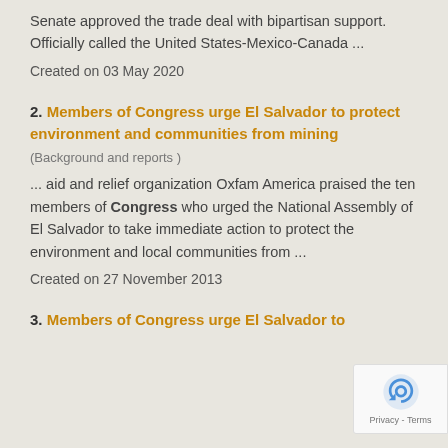Senate approved the trade deal with bipartisan support. Officially called the United States-Mexico-Canada ...
Created on 03 May 2020
2. Members of Congress urge El Salvador to protect environment and communities from mining
(Background and reports )
... aid and relief organization Oxfam America praised the ten members of Congress who urged the National Assembly of El Salvador to take immediate action to protect the environment and local communities from ...
Created on 27 November 2013
3. Members of Congress urge El Salvador to